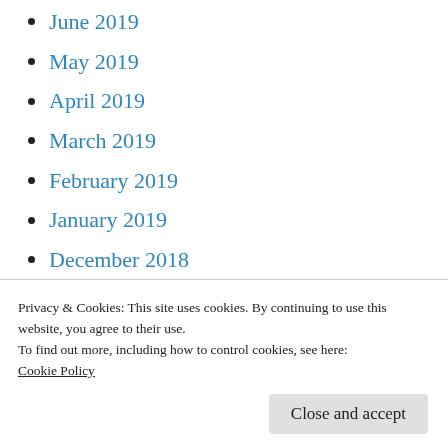June 2019
May 2019
April 2019
March 2019
February 2019
January 2019
December 2018
November 2018
October 2018
September 2018
August 2018
Privacy & Cookies: This site uses cookies. By continuing to use this website, you agree to their use.
To find out more, including how to control cookies, see here:
Cookie Policy
March 2018